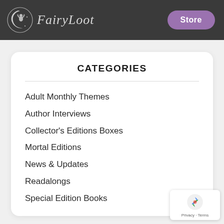FairyLoot | Store
CATEGORIES
Adult Monthly Themes
Author Interviews
Collector's Editions Boxes
Mortal Editions
News & Updates
Readalongs
Special Edition Books